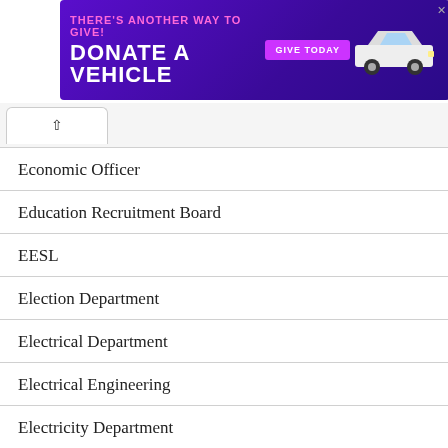[Figure (other): Advertisement banner: 'THERE'S ANOTHER WAY TO GIVE! DONATE A VEHICLE – GIVE TODAY' with a white car illustration on purple background]
Economic Officer
Education Recruitment Board
EESL
Election Department
Electrical Department
Electrical Engineering
Electricity Department
Electronic Department
Electronics Corporation of India Limited
em
Employment news
Energy Efficiency Services Limited